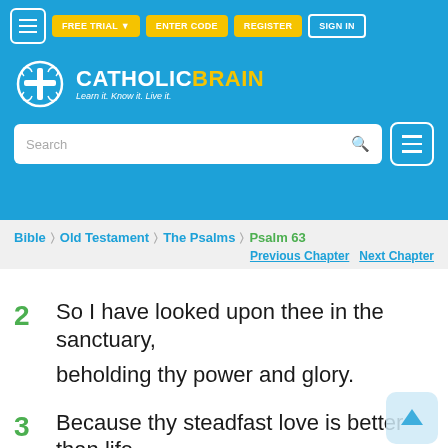FREE TRIAL | ENTER CODE | REGISTER | SIGN IN
[Figure (logo): CatholicBrain logo with brain icon and cross, tagline: Learn it. Know it. Live it.]
Search
Bible > Old Testament > The Psalms > Psalm 63
Previous Chapter   Next Chapter
2  So I have looked upon thee in the sanctuary,

beholding thy power and glory.
3  Because thy steadfast love is better than life,